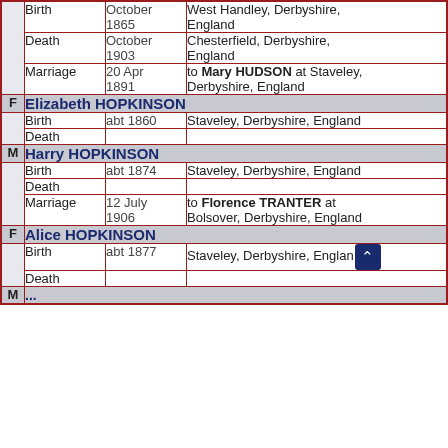| Sex | Event | Date | Place/Notes |
| --- | --- | --- | --- |
|  | Birth | October 1865 | West Handley, Derbyshire, England |
|  | Death | October 1903 | Chesterfield, Derbyshire, England |
|  | Marriage | 20 Apr 1891 | to Mary HUDSON at Staveley, Derbyshire, England |
| F | Elizabeth HOPKINSON |  |  |
|  | Birth | abt 1860 | Staveley, Derbyshire, England |
|  | Death |  |  |
| M | Harry HOPKINSON |  |  |
|  | Birth | abt 1874 | Staveley, Derbyshire, England |
|  | Death |  |  |
|  | Marriage | 12 July 1906 | to Florence TRANTER at Bolsover, Derbyshire, England |
| F | Alice HOPKINSON |  |  |
|  | Birth | abt 1877 | Staveley, Derbyshire, England |
|  | Death |  |  |
| M | ...(HOPKINSON) |  |  |